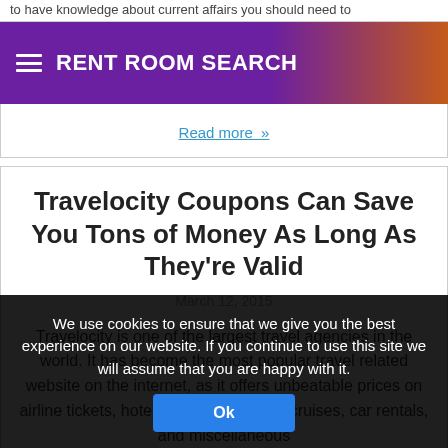to have knowledge about current affairs you should need to
RENT ROOM SEARCH
Read more »
Travelocity Coupons Can Save You Tons of Money As Long As They're Valid
March 12, 2015
Travelocity is one of the largest travel agencies in the world. It has become the most popular travel related website on the internet, as it offers unbeatable prices on airline tickets, hotel accommodations, cruises, car rentals, and miscellaneous
We use cookies to ensure that we give you the best experience on our website. If you continue to use this site we will assume that you are happy with it.
Ok